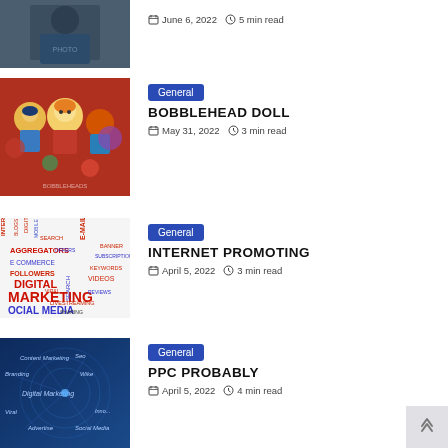[Figure (photo): Partial image of a person in a blue shirt at top of page]
June 6, 2022  5 min read
[Figure (photo): Collection of bobblehead dolls with baseball mascots]
General
BOBBLEHEAD DOLL
May 31, 2022  3 min read
[Figure (photo): Internet marketing word cloud image with terms like Digital Marketing, Social Media, E-Mail]
General
INTERNET PROMOTING
April 5, 2022  3 min read
[Figure (photo): Blue digital marketing concept image with text Content Marketing, SEO, Digital Marketing, Viral, Advertise, Social Media]
General
PPC PROBABLY
April 5, 2022  4 min read